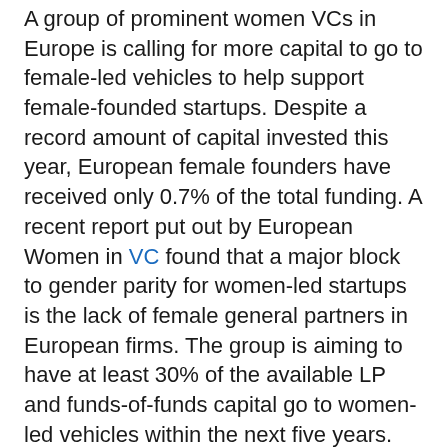A group of prominent women VCs in Europe is calling for more capital to go to female-led vehicles to help support female-founded startups. Despite a record amount of capital invested this year, European female founders have received only 0.7% of the total funding. A recent report put out by European Women in VC found that a major block to gender parity for women-led startups is the lack of female general partners in European firms. The group is aiming to have at least 30% of the available LP and funds-of-funds capital go to women-led vehicles within the next five years.
More and more startups are choosing to play it safe and slow by rejecting their highest VC offers in favor of lower-priced deals. What the pandemic's unexpected tidal wave of entrepreneurial activity could mean for the economy. Electric car batteries don't last forever, and it's time to plan how to handle the waste. A new investigation into Tesla's Autopilot